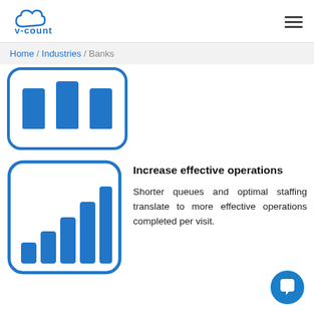V-COUNT logo and navigation menu
Home / Industries / Banks
[Figure (illustration): Blue icon showing a queue/counter with three people waiting in line, inside a rounded rectangle border]
[Figure (illustration): Blue bar chart icon showing increasing bars inside a rounded rectangle border]
Increase effective operations
Shorter queues and optimal staffing translate to more effective operations completed per visit.